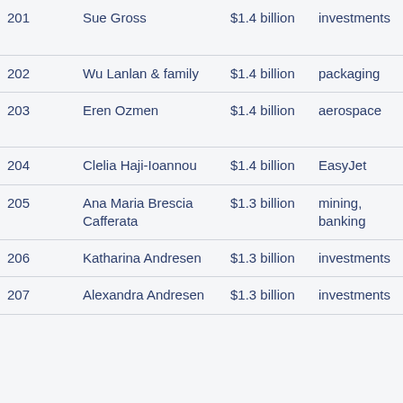| Rank | Name | Net Worth | Source | Country |
| --- | --- | --- | --- | --- |
| 201 | Sue Gross | $1.4 billion | investments | United States |
| 202 | Wu Lanlan & family | $1.4 billion | packaging | China |
| 203 | Eren Ozmen | $1.4 billion | aerospace | United States |
| 204 | Clelia Haji-Ioannou | $1.4 billion | EasyJet | Cyprus |
| 205 | Ana Maria Brescia Cafferata | $1.3 billion | mining, banking | Peru |
| 206 | Katharina Andresen | $1.3 billion | investments | Norway |
| 207 | Alexandra Andresen | $1.3 billion | investments | Norway |